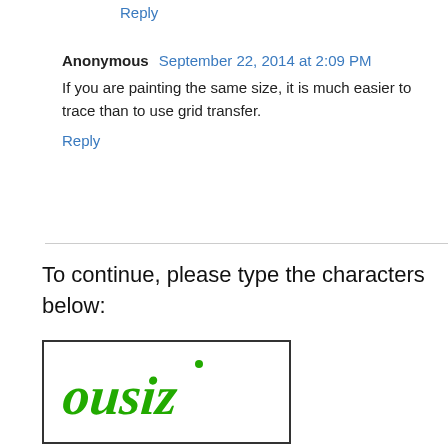Reply
Anonymous  September 22, 2014 at 2:09 PM
If you are painting the same size, it is much easier to trace than to use grid transfer.
Reply
To continue, please type the characters below:
[Figure (other): CAPTCHA image showing stylized green handwritten text reading 'ousiz']
[Figure (other): Text input box for CAPTCHA entry]